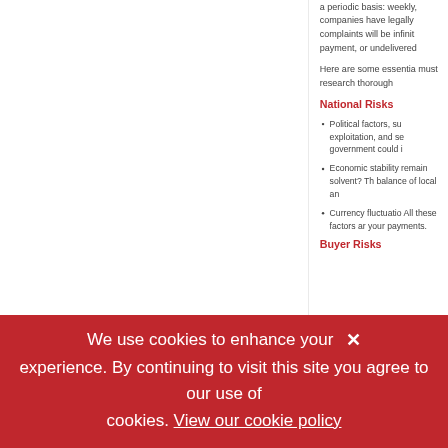a periodic basis: weekly, companies have legally complaints will be infinit payment, or undelivered
Here are some essentia must research thorough
National Risks
Political factors, su exploitation, and se government could i
Economic stability remain solvent? Th balance of local an
Currency fluctuatio All these factors ar your payments.
Buyer Risks
We use cookies to enhance your experience. By continuing to visit this site you agree to our use of cookies. View our cookie policy